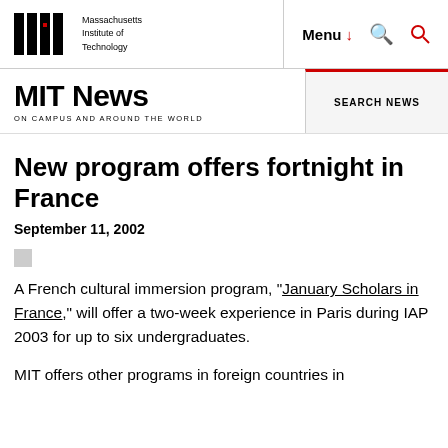Massachusetts Institute of Technology | Menu | Search
MIT News ON CAMPUS AND AROUND THE WORLD
New program offers fortnight in France
September 11, 2002
A French cultural immersion program, "January Scholars in France," will offer a two-week experience in Paris during IAP 2003 for up to six undergraduates.
MIT offers other programs in foreign countries in